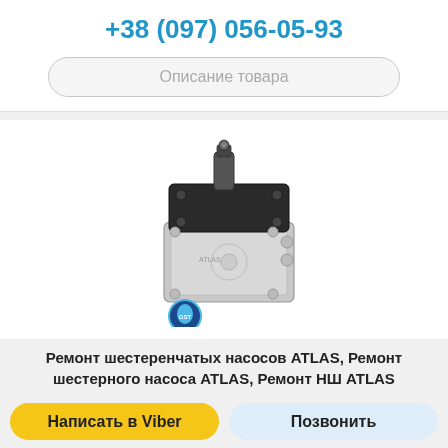+38 (097) 056-05-93
Описание товара
[Figure (photo): Gear hydraulic pump (шестеренчатый насос) ATLAS — a silver and black metal hydraulic pump unit with a shaft on top and mounting flanges. Below the pump is a small blue gear/drop logo with 'GST' text.]
Ремонт шестеренчатых насосов ATLAS, Ремонт шестерного насоса ATLAS, Ремонт НШ ATLAS
Ремонт шестеренчатого насоса ATLAS в Украине ...
Написать в Viber
Позвонить